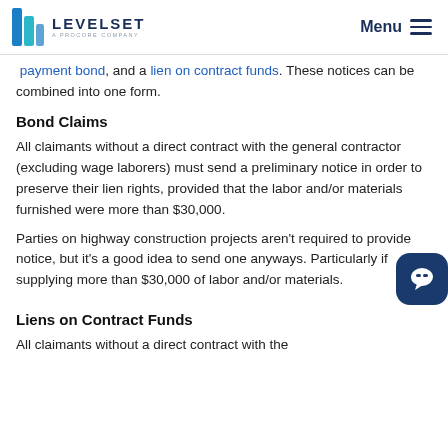Levelset — A Procore Company | Menu
payment bond, and a lien on contract funds. These notices can be combined into one form.
Bond Claims
All claimants without a direct contract with the general contractor (excluding wage laborers) must send a preliminary notice in order to preserve their lien rights, provided that the labor and/or materials furnished were more than $30,000.
Parties on highway construction projects aren't required to provide notice, but it's a good idea to send one anyways. Particularly if supplying more than $30,000 of labor and/or materials.
Liens on Contract Funds
All claimants without a direct contract with the